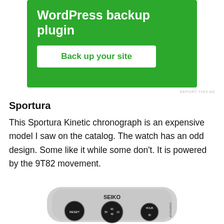[Figure (other): Green advertisement banner for a WordPress backup plugin with a 'Back up your site' button]
REPORT THIS AD
Sportura
This Sportura Kinetic chronograph is an expensive model I saw on the catalog. The watch has an odd design. Some like it while some don't. It is powered by the 9T82 movement.
[Figure (photo): Photo of a Seiko Sportura Kinetic chronograph watch with silver case and three black sub-dials labeled RESET, HOUR, and START/STOP]